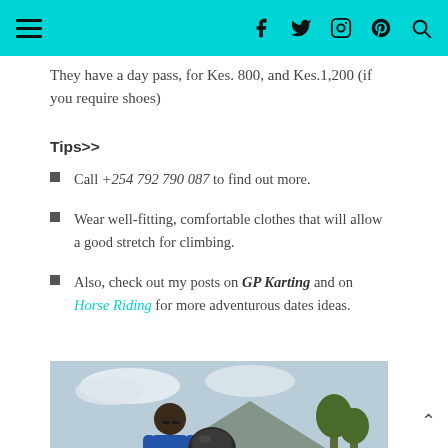Navigation header with hamburger menu and social icons (Facebook, Twitter, Instagram, Pinterest, Search)
They have a day pass, for Kes. 800, and Kes.1,200 (if you require shoes)
Tips>>
Call +254 792 790 087 to find out more.
Wear well-fitting, comfortable clothes that will allow a good stretch for climbing.
Also, check out my posts on GP Karting and on Horse Riding for more adventurous dates ideas.
[Figure (photo): A man holding a helmet outdoors, with a tent and trees in the background]